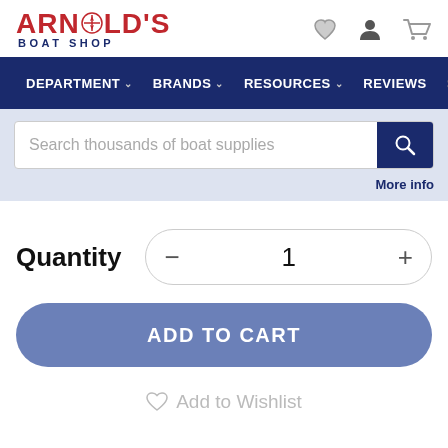[Figure (logo): Arnold's Boat Shop logo with compass icon in red and dark blue text]
DEPARTMENT BRANDS RESOURCES REVIEWS SHIPP
Search thousands of boat supplies
More info
Quantity
−  1  +
ADD TO CART
Add to Wishlist